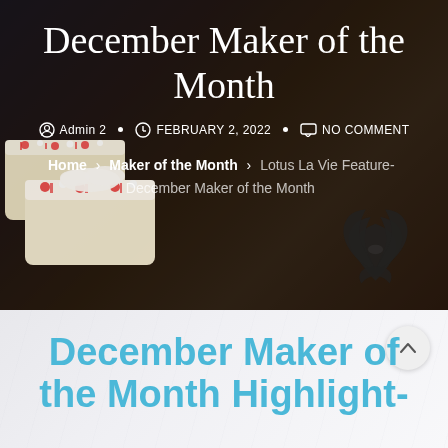[Figure (photo): Hero banner image showing peppermint candy soap bars with red and white crushed candy cane topping, dark moody background with bokeh lights, and a lotus flower logo in the bottom right corner]
December Maker of the Month
Admin 2  •  FEBRUARY 2, 2022  •  NO COMMENT
Home > Maker of the Month > Lotus La Vie Feature-December Maker of the Month
December Maker of the Month Highlight-